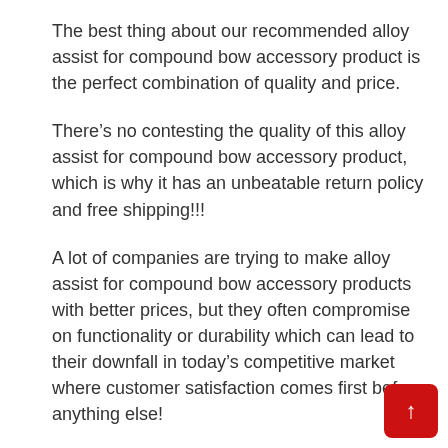The best thing about our recommended alloy assist for compound bow accessory product is the perfect combination of quality and price.
There’s no contesting the quality of this alloy assist for compound bow accessory product, which is why it has an unbeatable return policy and free shipping!!!
A lot of companies are trying to make alloy assist for compound bow accessory products with better prices, but they often compromise on functionality or durability which can lead to their downfall in today’s competitive market where customer satisfaction comes first before anything else!
The best quality is not always the most expensive